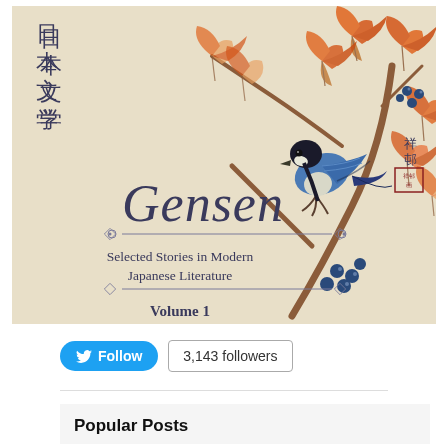[Figure (illustration): Book cover for 'Gensen: Selected Stories in Modern Japanese Literature, Volume 1'. Features a Japanese woodblock print style illustration of a blue titmouse bird perched on a branch with orange autumn maple leaves and clusters of dark blue berries. Japanese characters '日本文学' appear top-left, the title 'Gensen' in large serif italic text, subtitle 'Selected Stories in Modern Japanese Literature', and 'Volume 1' at the bottom. A Japanese artist seal with characters '祥邨' appears on the right side.]
Follow   3,143 followers
Popular Posts